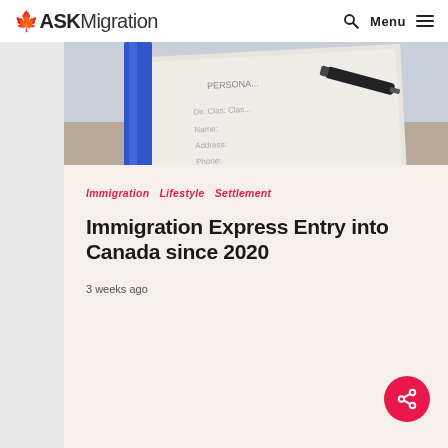ASKMigration — Menu
[Figure (photo): Close-up of a personal information form with a pen resting on it, blue binder edge visible on the left side]
Immigration   Lifestyle   Settlement
Immigration Express Entry into Canada since 2020
3 weeks ago